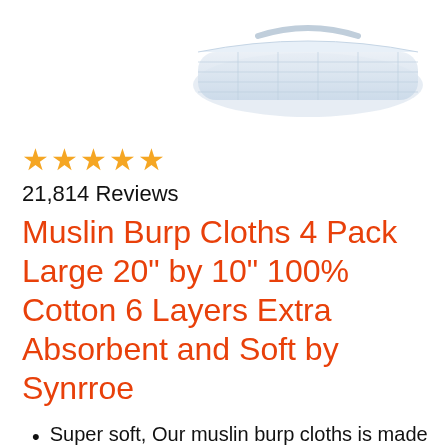[Figure (photo): White muslin burp cloths folded, shown partially at top of image]
★★★★★
21,814 Reviews
Muslin Burp Cloths 4 Pack Large 20" by 10" 100% Cotton 6 Layers Extra Absorbent and Soft by Synrroe
Super soft, Our muslin burp cloths is made of first class cotton, super soft, very comfortable to touch, like